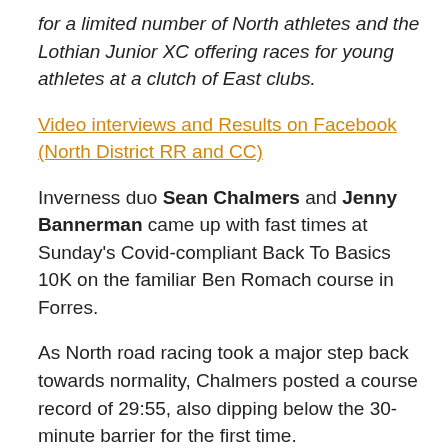for a limited number of North athletes and the Lothian Junior XC offering races for young athletes at a clutch of East clubs.
Video interviews and Results on Facebook (North District RR and CC)
Inverness duo Sean Chalmers and Jenny Bannerman came up with fast times at Sunday's Covid-compliant Back To Basics 10K on the familiar Ben Romach course in Forres.
As North road racing took a major step back towards normality, Chalmers posted a course record of 29:55, also dipping below the 30-minute barrier for the first time.
Bannerman, with 35:08, just missed the women's record by six seconds and her own personal best by 16.